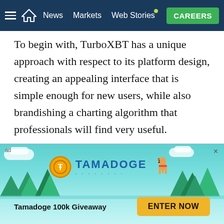News | Markets | Web Stories | CAREERS
To begin with, TurboXBT has a unique approach with respect to its platform design, creating an appealing interface that is simple enough for new users, while also brandishing a charting algorithm that professionals will find very useful. TurboXBT is easy to navigate, and new users can set up an account, enter into their first trading contract, and get their payout in less than 3 minutes.
Beyond the convenience TurboXBT offers, here are the distinguishing features that place the platform on...
[Figure (infographic): Tamadoge 100k Giveaway advertisement banner with teal background, trees, Tamadoge coin logo, pixel-art dog, and 'ENTER NOW' button.]